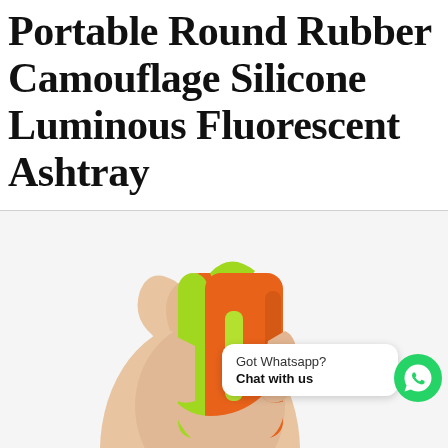Portable Round Rubber Camouflage Silicone Luminous Fluorescent Ashtray
[Figure (photo): A hand holding an orange and lime-green silicone portable ashtray, with a WhatsApp chat bubble overlay reading 'Got Whatsapp? Chat with us' and a green WhatsApp icon circle on the right.]